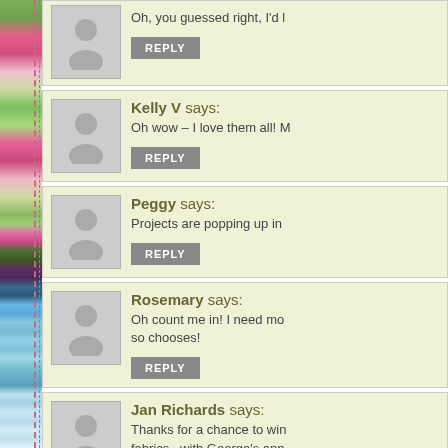[Figure (illustration): Left sidebar with colorful floral/abstract images and dashed border]
Oh, you guessed right, I'd l...
REPLY
Kelly V says:
Oh wow – I love them all! M...
REPLY
Peggy says:
Projects are popping up in...
REPLY
Rosemary says:
Oh count me in! I need mo... so chooses!
REPLY
Jan Richards says:
Thanks for a chance to win... fabrics...with George's app...
REPLY